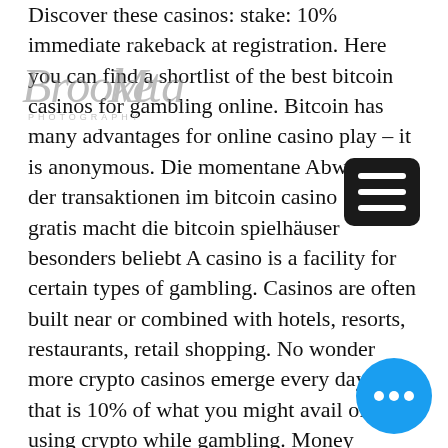Discover these casinos: stake: 10% immediate rakeback at registration. Here you can find a shortlist of the best bitcoin casinos for gambling online. Bitcoin has many advantages for online casino play – it is anonymous. Die momentane Abwicklung der transaktionen im bitcoin casino 10 euro gratis macht die bitcoin spielhäuser besonders beliebt A casino is a facility for certain types of gambling. Casinos are often built near or combined with hotels, resorts, restaurants, retail shopping. No wonder more crypto casinos emerge every day. Still, that is 10% of what you might avail of by using crypto while gambling. Money manager jason ader will submit plans on dec. 10 for a casino in the new york area that features what he said would be the world's. Madness bonus has partnered with the best bitcoin and crypto casino websites just for you. Discover these casinos: stake: 10% immediate rakeback at registration. New
[Figure (logo): Watermark/logo overlay: cursive script signature reading 'Brooke Mustafa Photography']